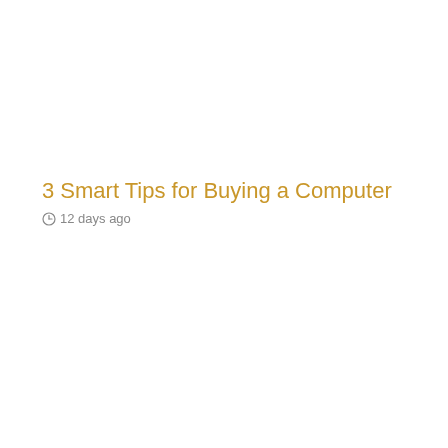3 Smart Tips for Buying a Computer
12 days ago